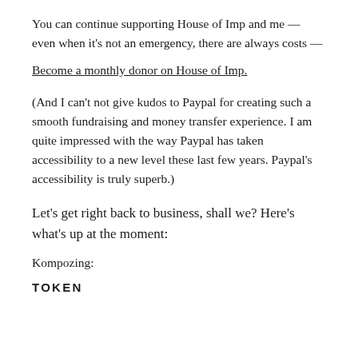You can continue supporting House of Imp and me — even when it's not an emergency, there are always costs —
Become a monthly donor on House of Imp.
(And I can't not give kudos to Paypal for creating such a smooth fundraising and money transfer experience. I am quite impressed with the way Paypal has taken accessibility to a new level these last few years. Paypal's accessibility is truly superb.)
Let's get right back to business, shall we? Here's what's up at the moment:
Kompozing:
TOKEN